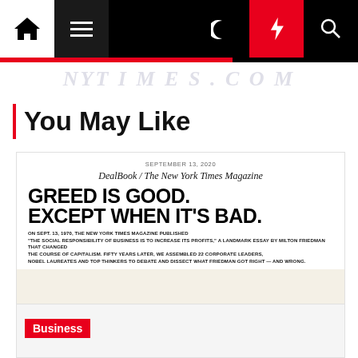Navigation bar with home, menu, moon, flash, and search icons
[Figure (screenshot): Faded New York Times masthead watermark strip in light purple/grey]
You May Like
[Figure (screenshot): Article card from DealBook / The New York Times Magazine dated September 13, 2020. Headline: GREED IS GOOD. EXCEPT WHEN IT'S BAD. Body text: ON SEPT. 13, 1970, THE NEW YORK TIMES MAGAZINE PUBLISHED "THE SOCIAL RESPONSIBILITY OF BUSINESS IS TO INCREASE ITS PROFITS," A LANDMARK ESSAY BY MILTON FRIEDMAN THAT CHANGED THE COURSE OF CAPITALISM. FIFTY YEARS LATER, WE ASSEMBLED 22 CORPORATE LEADERS, NOBEL LAUREATES AND TOP THINKERS TO DEBATE AND DISSECT WHAT FRIEDMAN GOT RIGHT — AND WRONG. Below the text is a cream/off-white background image with a partial pie/semi-circle at the bottom in pink, teal/blue, and yellow segments.]
[Figure (screenshot): Second article card with grey background and a red 'Business' tag label]